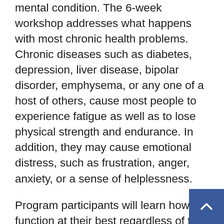mental condition. The 6-week workshop addresses what happens with most chronic health problems. Chronic diseases such as diabetes, depression, liver disease, bipolar disorder, emphysema, or any one of a host of others, cause most people to experience fatigue as well as to lose physical strength and endurance. In addition, they may cause emotional distress, such as frustration, anger, anxiety, or a sense of helplessness.
Program participants will learn how to function at their best regardless of the difficulties life presents. The program goal is to aid participants in achieving